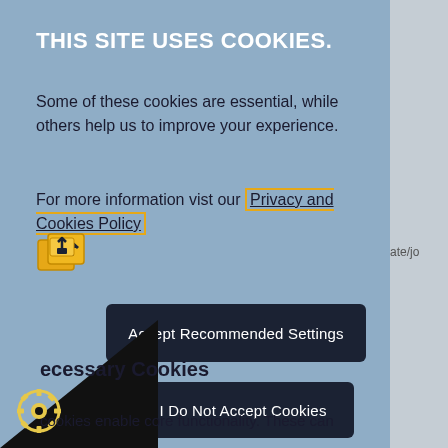THIS SITE USES COOKIES.
Some of these cookies are essential, while others help us to improve your experience.
For more information vist our Privacy and Cookies Policy
[Figure (illustration): Share/external link icon in orange/yellow color]
Accept Recommended Settings
I Do Not Accept Cookies
Necessary Cookies
y cookies enable core functionality. These can